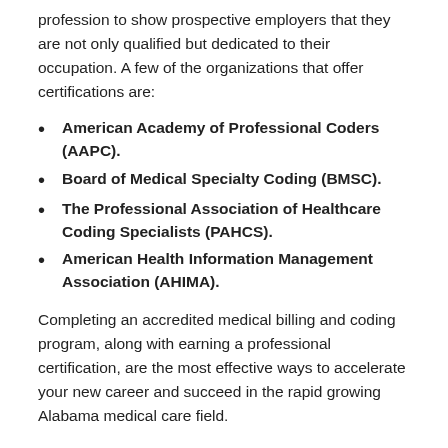profession to show prospective employers that they are not only qualified but dedicated to their occupation. A few of the organizations that offer certifications are:
American Academy of Professional Coders (AAPC).
Board of Medical Specialty Coding (BMSC).
The Professional Association of Healthcare Coding Specialists (PAHCS).
American Health Information Management Association (AHIMA).
Completing an accredited medical billing and coding program, along with earning a professional certification, are the most effective ways to accelerate your new career and succeed in the rapid growing Alabama medical care field.
Medical Biller and Coder Online Schools